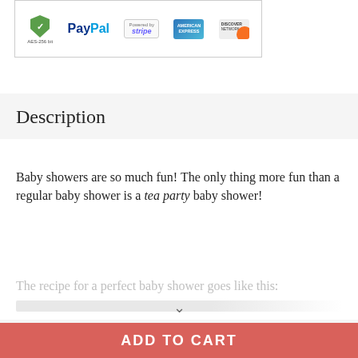[Figure (other): Payment security banner showing AES-256 bit shield, PayPal logo, Powered by Stripe badge, American Express card, and Discover Network card]
Description
Baby showers are so much fun! The only thing more fun than a regular baby shower is a tea party baby shower!
The recipe for a perfect baby shower goes like this:
Reviews